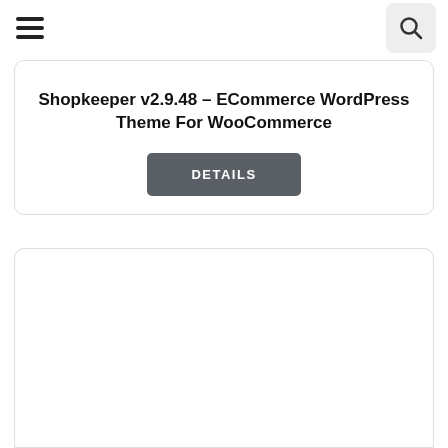Shopkeeper v2.9.48 – ECommerce WordPress Theme For WooCommerce
DETAILS
[Figure (other): Empty card / image placeholder at bottom of page]